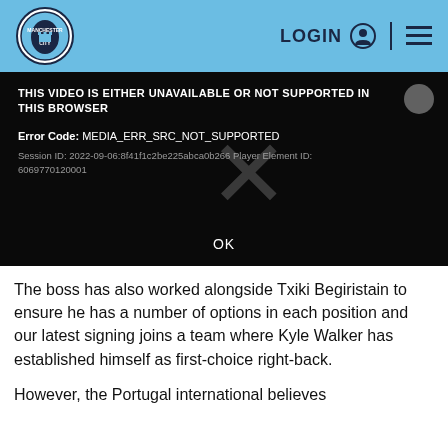Manchester City – LOGIN navigation header
[Figure (screenshot): Video player error screen on black background showing error message: THIS VIDEO IS EITHER UNAVAILABLE OR NOT SUPPORTED IN THIS BROWSER. Error Code: MEDIA_ERR_SRC_NOT_SUPPORTED. Session ID: 2022-09-06:8f41f1c2be225abca0b266 Player Element ID: 6069770120001. A faint X watermark overlays the center. OK button at bottom center.]
The boss has also worked alongside Txiki Begiristain to ensure he has a number of options in each position and our latest signing joins a team where Kyle Walker has established himself as first-choice right-back.
However, the Portugal international believes